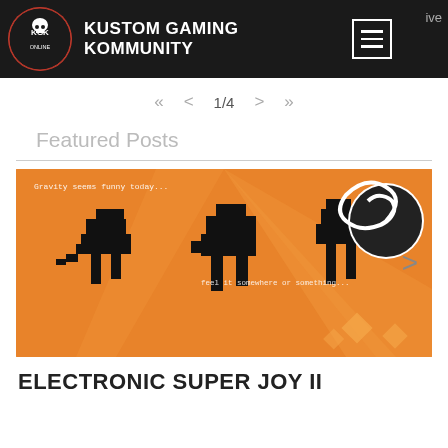Kustom Gaming Kommunity
1/4
Featured Posts
[Figure (screenshot): Screenshot from Electronic Super Joy II game showing orange background with pixelated black character silhouettes and text 'Gravity seems funny today...' and 'feel it somewhere or something...']
ELECTRONIC SUPER JOY II